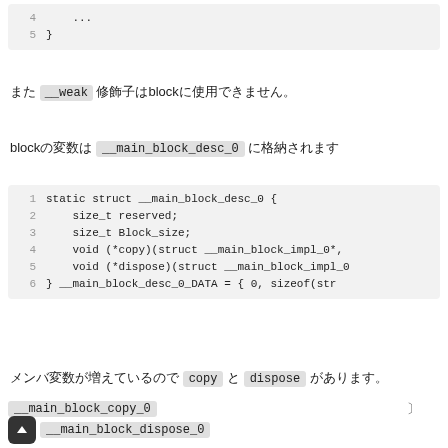[Figure (screenshot): Code block showing lines 4-5 with '...' and '}']
また __weak 修飾子はblockに使用できません。
blockの変数は __main_block_desc_0 に格納されます
[Figure (screenshot): Code block showing static struct __main_block_desc_0 definition with size_t reserved, Block_size, void *copy, void *dispose, and DATA initialization]
メンバ変数が増えているので copy と dispose があります。 __main_block_copy_0 と __main_block_dispose_0
__main_block_copy_0
__main_block_dispose_0